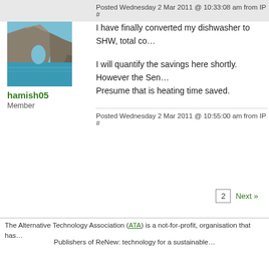Posted Wednesday 2 Mar 2011 @ 10:33:08 am from IP #
[Figure (photo): Outdoor landscape photo showing rocky coastal cliff with an arch formation and turquoise water below]
hamish05
Member
I have finally converted my dishwasher to SHW, total co…
I will quantify the savings here shortly. However the Sen… Presume that is heating time saved.
Posted Wednesday 2 Mar 2011 @ 10:55:00 am from IP #
2  Next »
The Alternative Technology Association (ATA) is a not-for-profit, organisation that has…
Publishers of ReNew: technology for a sustainable …